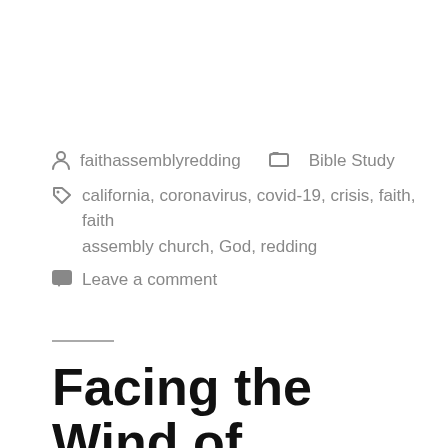faithassemblyredding   Bible Study
california, coronavirus, covid-19, crisis, faith, faith assembly church, God, redding
Leave a comment
Facing the Wind of Purpose and Vision in